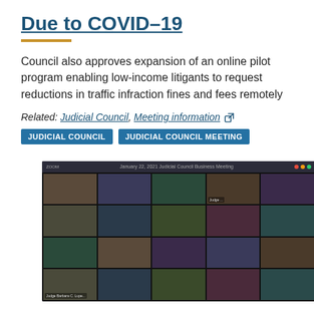Due to COVID-19
Council also approves expansion of an online pilot program enabling low-income litigants to request reductions in traffic infraction fines and fees remotely
Related: Judicial Council, Meeting information [external link]
JUDICIAL COUNCIL   JUDICIAL COUNCIL MEETING
[Figure (screenshot): Screenshot of a Zoom video conference call showing the Judicial Council Business Meeting with approximately 20 participants in a grid view]